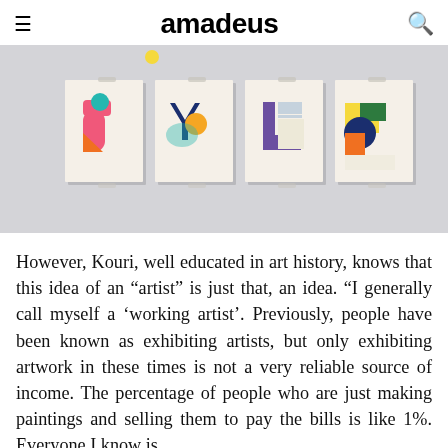amadeus
[Figure (photo): Four small art prints with colorful geometric shapes pinned to a light gray wall. Each card shows abstract shapes in bold colors: pink, orange, blue, teal, yellow, green, purple.]
However, Kouri, well educated in art history, knows that this idea of an “artist” is just that, an idea. “I generally call myself a ‘working artist’. Previously, people have been known as exhibiting artists, but only exhibiting artwork in these times is not a very reliable source of income. The percentage of people who are just making paintings and selling them to pay the bills is like 1%. Everyone I know is